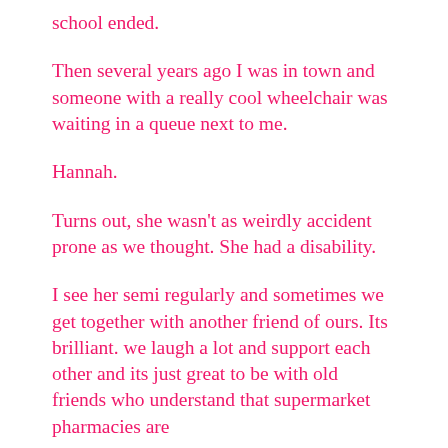school ended.
Then several years ago I was in town and someone with a really cool wheelchair was waiting in a queue next to me.
Hannah.
Turns out, she wasn't as weirdly accident prone as we thought. She had a disability.
I see her semi regularly and sometimes we get together with another friend of ours. Its brilliant. we laugh a lot and support each other and its just great to be with old friends who understand that supermarket pharmacies are